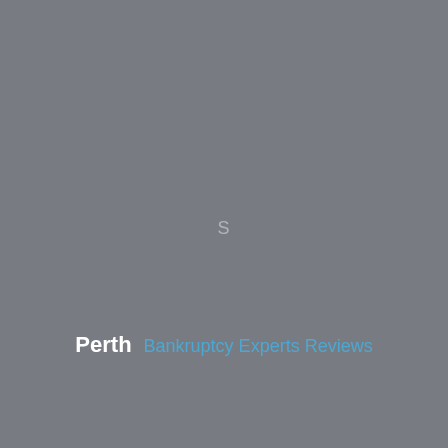S
Perth   Bankruptcy Experts Reviews